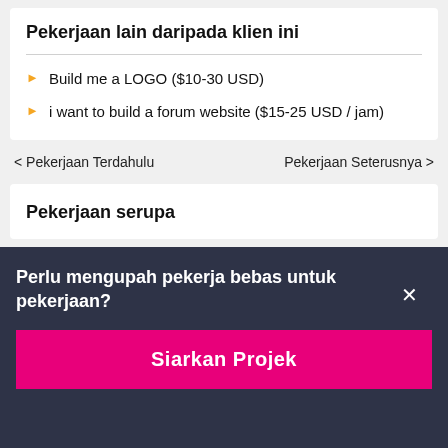Pekerjaan lain daripada klien ini
Build me a LOGO ($10-30 USD)
i want to build a forum website ($15-25 USD / jam)
< Pekerjaan Terdahulu
Pekerjaan Seterusnya >
Pekerjaan serupa
Perlu mengupah pekerja bebas untuk pekerjaan?
Siarkan Projek